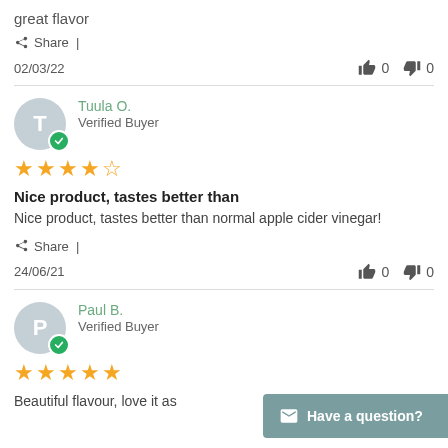great flavor
Share |
02/03/22   👍 0   👎 0
Tuula O.
Verified Buyer
★★★★☆
Nice product, tastes better than
Nice product, tastes better than normal apple cider vinegar!
Share |
24/06/21   👍 0   👎 0
Paul B.
Verified Buyer
★★★★★
Beautiful flavour, love it as
Have a question?